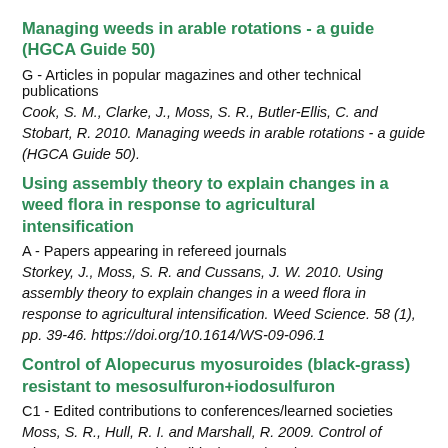Managing weeds in arable rotations - a guide (HGCA Guide 50)
G - Articles in popular magazines and other technical publications
Cook, S. M., Clarke, J., Moss, S. R., Butler-Ellis, C. and Stobart, R. 2010. Managing weeds in arable rotations - a guide (HGCA Guide 50).
Using assembly theory to explain changes in a weed flora in response to agricultural intensification
A - Papers appearing in refereed journals
Storkey, J., Moss, S. R. and Cussans, J. W. 2010. Using assembly theory to explain changes in a weed flora in response to agricultural intensification. Weed Science. 58 (1), pp. 39-46. https://doi.org/10.1614/WS-09-096.1
Control of Alopecurus myosuroides (black-grass) resistant to mesosulfuron+iodosulfuron
C1 - Edited contributions to conferences/learned societies
Moss, S. R., Hull, R. I. and Marshall, R. 2009. Control of Alopecurus myosuroides (black-grass) resistant to